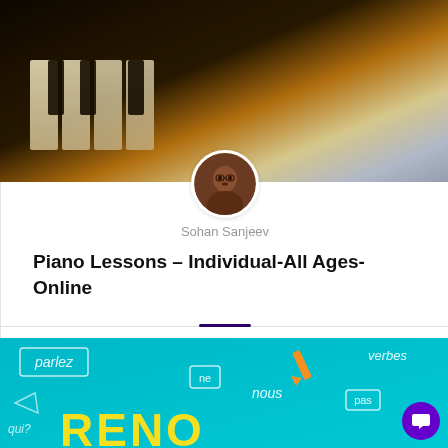[Figure (photo): Close-up photo of piano keys with warm amber/dark tones, angled perspective]
[Figure (photo): Circular avatar/profile photo of Sohan Sanjeev, a person with dark complexion]
Sohan Sanjeev
Piano Lessons – Individual-All Ages- Online
0  $20.00
[Figure (photo): Teal/cyan background with French language words (parlez, ne, nous, verbes, pas) drawn in white outline style, with yellow text partially visible at bottom reading RENO or similar]